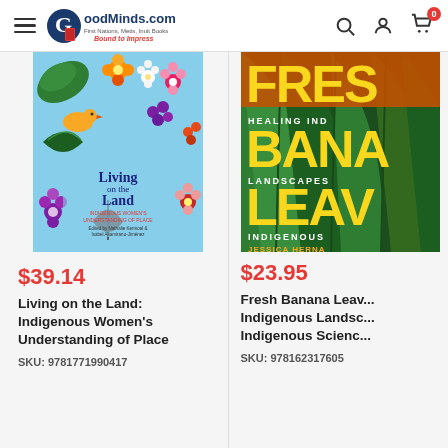GoodMinds.com — First Nations, Metis, Inuit Books — Bound to Impress
[Figure (photo): Book cover: Living on the Land: Indigenous Women's Understanding of Place — colorful Indigenous floral art design]
$39.14
Living on the Land: Indigenous Women's Understanding of Place
SKU: 9781771990417
[Figure (photo): Book cover: Fresh Banana Leaves — Healing Indigenous Landscapes through Indigenous Science by Jessica Hernandez, dark green tropical leaves]
$23.95
Fresh Banana Leaves: Healing Indigenous Landscapes through Indigenous Science
SKU: 978162317605